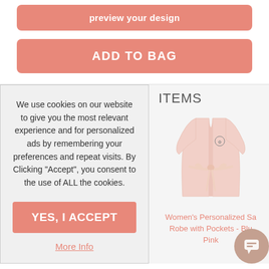preview your design
ADD TO BAG
We use cookies on our website to give you the most relevant experience and for personalized ads by remembering your preferences and repeat visits. By Clicking "Accept", you consent to the use of ALL the cookies.
YES, I ACCEPT
More Info
ITEMS
[Figure (illustration): Pink satin robe with a small floral monogram emblem on the chest and a tie belt]
Women's Personalized Satin Robe with Pockets - Blush Pink